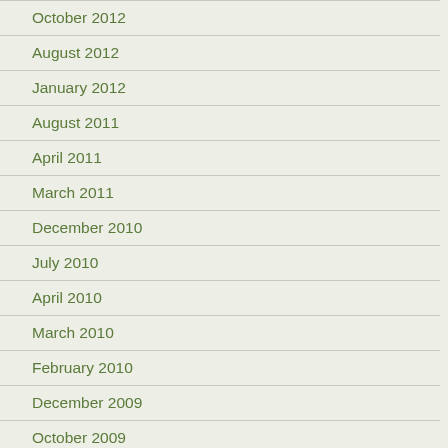October 2012
August 2012
January 2012
August 2011
April 2011
March 2011
December 2010
July 2010
April 2010
March 2010
February 2010
December 2009
October 2009
September 2009
July 2009